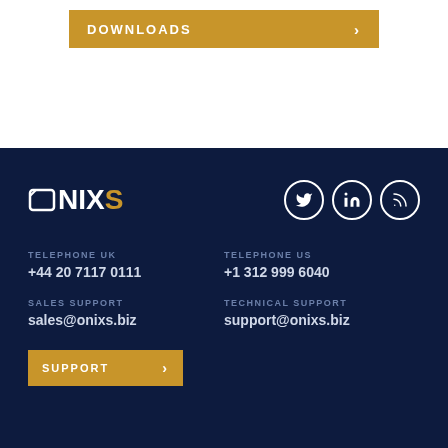[Figure (other): Gold/amber download button with text DOWNLOADS and right arrow, partially cropped at top]
[Figure (logo): ONIXS logo in white and gold on dark navy background, with social media icons (Twitter, LinkedIn, RSS) on the right]
TELEPHONE UK
+44 20 7117 0111
TELEPHONE US
+1 312 999 6040
SALES SUPPORT
sales@onixs.biz
TECHNICAL SUPPORT
support@onixs.biz
[Figure (other): Gold SUPPORT button with right arrow, partially cropped at bottom]